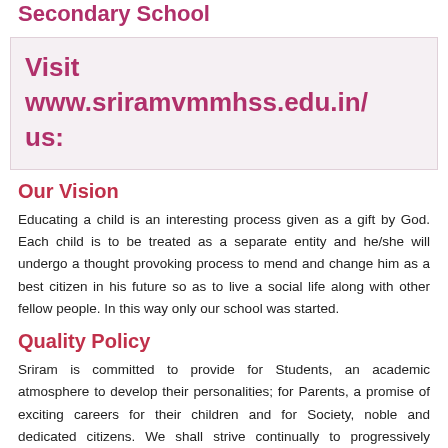Secondary School
Visit  www.sriramvmmhss.edu.in/ us:
Our Vision
Educating a child is an interesting process given as a gift by God. Each child is to be treated as a separate entity and he/she will undergo a thought provoking process to mend and change him as a best citizen in his future so as to live a social life along with other fellow people. In this way only our school was started.
Quality Policy
Sriram is committed to provide for Students, an academic atmosphere to develop their personalities; for Parents, a promise of exciting careers for their children and for Society, noble and dedicated citizens. We shall strive continually to progressively develop seeking broad avenues of learning to face the challenging